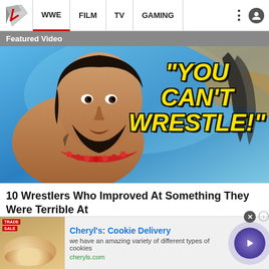WWE | FILM | TV | GAMING
Featured Video
[Figure (photo): WWE wrestler Roman Reigns with text overlay reading "YOU CAN'T WRESTLE!" in yellow bold italic font with black outline, on a blue background]
10 Wrestlers Who Improved At Something They Were Terrible At
Cheryl's: Cookie Delivery
we have an amazing variety of different types of cookies
cheryls.com